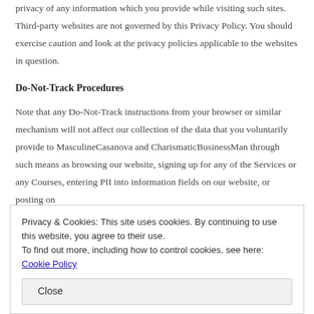privacy of any information which you provide while visiting such sites. Third-party websites are not governed by this Privacy Policy. You should exercise caution and look at the privacy policies applicable to the websites in question.
Do-Not-Track Procedures
Note that any Do-Not-Track instructions from your browser or similar mechanism will not affect our collection of the data that you voluntarily provide to MasculineCasanova and CharismaticBusinessMan through such means as browsing our website, signing up for any of the Services or any Courses, entering PII into information fields on our website, or posting on
Privacy & Cookies: This site uses cookies. By continuing to use this website, you agree to their use.
To find out more, including how to control cookies, see here: Cookie Policy